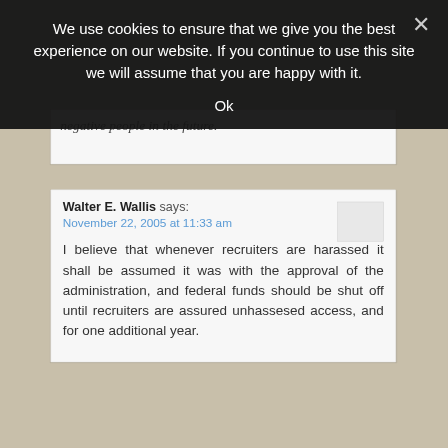We use cookies to ensure that we give you the best experience on our website. If you continue to use this site we will assume that you are happy with it.
Ok
negative people in the future.
Walter E. Wallis says:
November 22, 2005 at 11:33 am

I believe that whenever recruiters are harassed it shall be assumed it was with the approval of the administration, and federal funds should be shut off until recruiters are assured unhassesed access, and for one additional year.